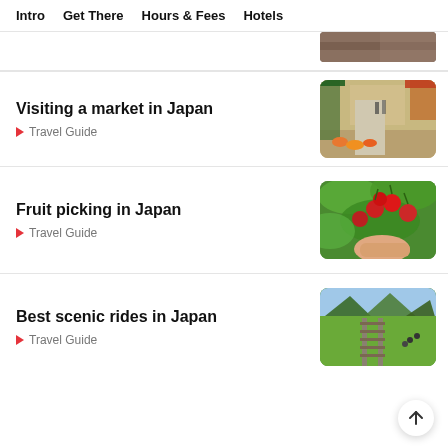Intro   Get There   Hours & Fees   Hotels
[Figure (photo): Partial view of a travel photo at top of page, cropped]
Visiting a market in Japan
Travel Guide
[Figure (photo): Busy Japanese market street with fruit stalls and shoppers]
Fruit picking in Japan
Travel Guide
[Figure (photo): Hand picking red cherries from a cherry tree with green leaves]
Best scenic rides in Japan
Travel Guide
[Figure (photo): Scenic railway track through green hills and mountains in Japan with cyclists]